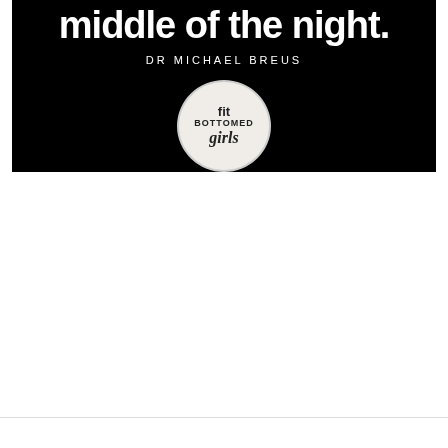[Figure (illustration): Book cover image on black background showing partial title text 'middle of the night.' in large white bold font, author name 'DR MICHAEL BREUS' in white spaced capitals, and a circular 'fit BOTTOMED girls' logo badge in white/light gray.]
middle of the night.
DR MICHAEL BREUS
[Figure (logo): Circular badge logo reading 'fit BOTTOMED girls' in serif and sans-serif mixed typography on a light background with circular border.]